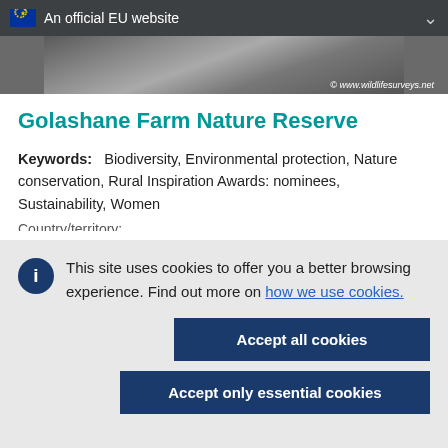An official EU website
[Figure (photo): Nature/wildlife photograph with watermark © www.wildlifesurveys.net]
Golashane Farm Nature Reserve
Keywords: Biodiversity, Environmental protection, Nature conservation, Rural Inspiration Awards: nominees, Sustainability, Women
This site uses cookies to offer you a better browsing experience. Find out more on how we use cookies.
Accept all cookies
Accept only essential cookies